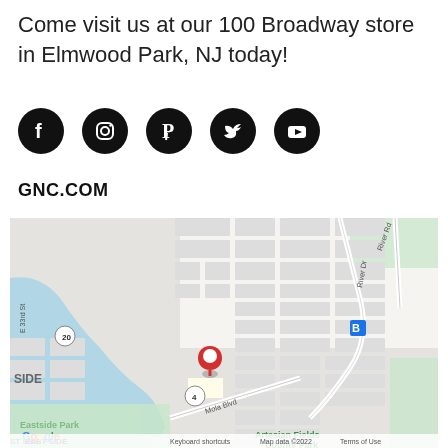Come visit us at our 100 Broadway store in Elmwood Park, NJ today!
[Figure (illustration): Row of 5 social media icons: Facebook, Instagram, Pinterest, Twitter, YouTube - black circles with white icons]
GNC.COM
[Figure (map): Google Maps screenshot showing area around Elmwood Park NJ with red location pin marker, showing River Dr, Mola Blvd, Route 20, Route 4, Eastside Park, East Side Park Historic District, Artesian Fields County Park. Map data 2022.]